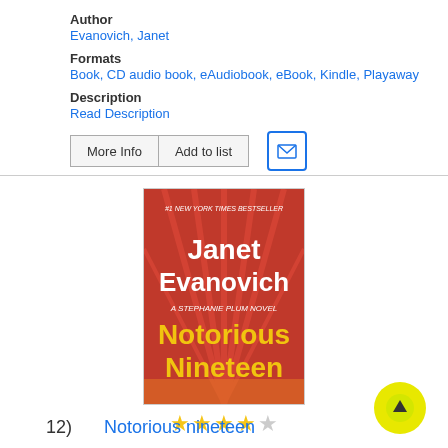Author
Evanovich, Janet
Formats
Book, CD audio book, eAudiobook, eBook, Kindle, Playaway
Description
Read Description
[Figure (photo): Book cover of Notorious Nineteen by Janet Evanovich - A Stephanie Plum Novel, red background with author name in white and title in yellow, #1 New York Times Bestseller badge at top]
4 out of 5 stars rating
12)  Notorious nineteen